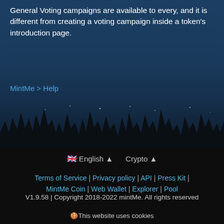General Voting campaigns are available to every, and it is different from creating a voting campaign inside a token's introduction page.
MintMe > Help
[Figure (illustration): Dark silhouette of grass/spikes skyline against a dark blue starry night sky background, transitioning into a black footer area]
🇬🇧 English ▲   Crypto ▲
Terms of Service | Privacy policy | API | Press Kit | MintMe Coin | Web Wallet | Explorer | Pool
V1.9.58 | Copyright 2018-2022 mintMe. All rights reserved
🍪This website uses cookies